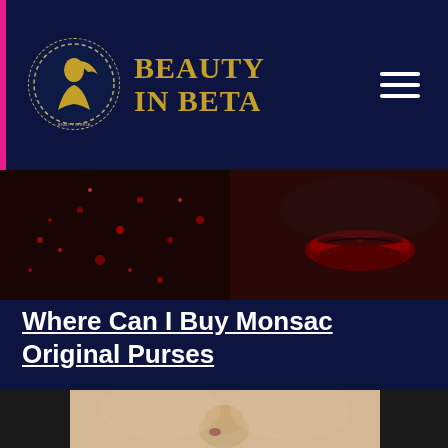Beauty In Beta
[Figure (photo): Close-up of a face with glittery dark makeup and dark lips, cropped to show mouth area]
Where Can I Buy Monsac Original Purses
Monsac glazed leather trifold wallet, gently used. $17. $35. Free shipping. AUTHENTIC MONSAC Black Leather HOBO Bag Handbag Purse w/ Woven edge handle ...
[Figure (photo): Close-up of a woman's nose and cheek area, soft skin, dark hair visible at edges]